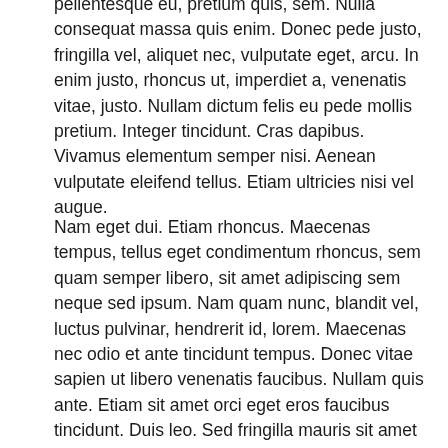pellentesque eu, pretium quis, sem. Nulla consequat massa quis enim. Donec pede justo, fringilla vel, aliquet nec, vulputate eget, arcu. In enim justo, rhoncus ut, imperdiet a, venenatis vitae, justo. Nullam dictum felis eu pede mollis pretium. Integer tincidunt. Cras dapibus. Vivamus elementum semper nisi. Aenean vulputate eleifend tellus. Etiam ultricies nisi vel augue.
Nam eget dui. Etiam rhoncus. Maecenas tempus, tellus eget condimentum rhoncus, sem quam semper libero, sit amet adipiscing sem neque sed ipsum. Nam quam nunc, blandit vel, luctus pulvinar, hendrerit id, lorem. Maecenas nec odio et ante tincidunt tempus. Donec vitae sapien ut libero venenatis faucibus. Nullam quis ante. Etiam sit amet orci eget eros faucibus tincidunt. Duis leo. Sed fringilla mauris sit amet nibh. Donec sodales sagittis magna. Sed consequat, leo eget